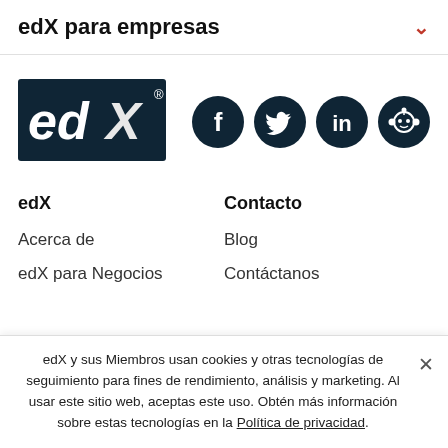edX para empresas
[Figure (logo): edX logo — white 'edX' text on dark teal background with registered trademark symbol]
[Figure (infographic): Social media icons row: Facebook, Twitter, LinkedIn, Reddit — white icons on dark navy circles]
edX
Contacto
Acerca de
Blog
edX para Negocios
Contáctanos
edX y sus Miembros usan cookies y otras tecnologías de seguimiento para fines de rendimiento, análisis y marketing. Al usar este sitio web, aceptas este uso. Obtén más información sobre estas tecnologías en la Política de privacidad.